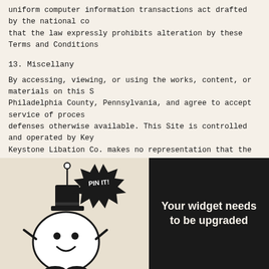uniform computer information transactions act drafted by the national co… that the law expressly prohibits alteration by these Terms and Conditions
13. Miscellany
By accessing, viewing, or using the works, content, or materials on this S… Philadelphia County, Pennsylvania, and agree to accept service of proces… defenses otherwise available. This Site is controlled and operated by Key… Keystone Libation Co. makes no representation that the works, content, appropriate or available for use in other locations, and access to them fro… from other locations do so on their own volition and are responsible for c… in any respect any right provided hereunder shall not be deemed a waiver… Terms and Conditions. Headings used in these Terms and Conditions, incl… the interpretation of these Terms and Conditions (or the Privacy Stateme… provided hereunder shall not be deemed a waiver of such right in the futu…
[Figure (illustration): Comic-style black and white illustration showing a cartoon character with a top hat and a 'PIN IT!' starburst speech bubble]
Your widget needs to be upgraded